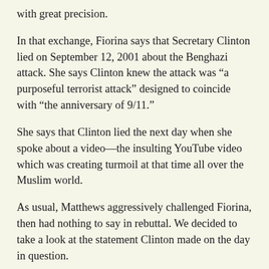with great precision.
In that exchange, Fiorina says that Secretary Clinton lied on September 12, 2001 about the Benghazi attack. She says Clinton knew the attack was “a purposeful terrorist attack” designed to coincide with “the anniversary of 9/11.”
She says that Clinton lied the next day when she spoke about a video—the insulting YouTube video which was creating turmoil at that time all over the Muslim world.
As usual, Matthews aggressively challenged Fiorina, then had nothing to say in rebuttal. We decided to take a look at the statement Clinton made on the day in question.
As far as we know, it’s false to say that Clinton and Obama believed the attack was a preplanned effort specifically designed for September 11. As far as we know, no such judgment about the attack has been reached, even today, by our intelligence services.
At any rate, Matthews’ collapse captures the way the liberal world has reacted to such L-bombs over the past 23 years. Matthews afforded himself no statement of rebuttal and his network